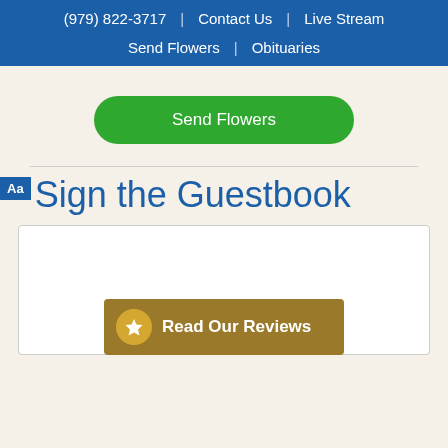(979) 822-3717 | Contact Us | Live Stream | Send Flowers | Obituaries
Send Flowers
Sign the Guestbook
[Figure (screenshot): White text input box for guestbook entry]
Read Our Reviews